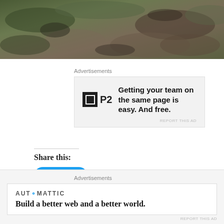[Figure (photo): Partial photo of a forest/ground scene showing mossy rocks and earth, cropped at top of page]
Advertisements
[Figure (screenshot): P2 advertisement: logo of P2 (black square with white square icon and 'P2' text) with tagline 'Getting your team on the same page is easy. And free.']
REPORT THIS AD
Share this:
[Figure (screenshot): Blue Twitter Tweet button with bird icon]
[Figure (screenshot): Like button with star icon and a row of user avatars/profile images, followed by a close X button]
Advertisements
[Figure (screenshot): Automattic advertisement: logo 'AUTOMATTIC' with tagline 'Build a better web and a better world.']